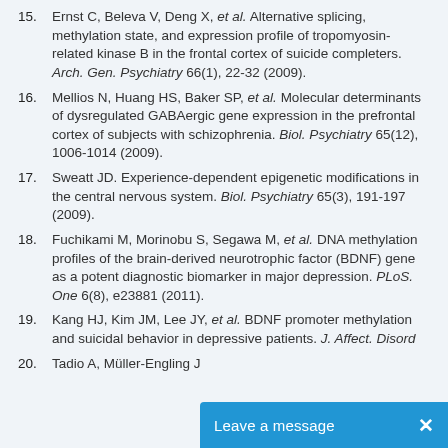15. Ernst C, Deleva V, Deng X, et al. Alternative splicing, methylation state, and expression profile of tropomyosin-related kinase B in the frontal cortex of suicide completers. Arch. Gen. Psychiatry 66(1), 22-32 (2009).
16. Mellios N, Huang HS, Baker SP, et al. Molecular determinants of dysregulated GABAergic gene expression in the prefrontal cortex of subjects with schizophrenia. Biol. Psychiatry 65(12), 1006-1014 (2009).
17. Sweatt JD. Experience-dependent epigenetic modifications in the central nervous system. Biol. Psychiatry 65(3), 191-197 (2009).
18. Fuchikami M, Morinobu S, Segawa M, et al. DNA methylation profiles of the brain-derived neurotrophic factor (BDNF) gene as a potent diagnostic biomarker in major depression. PLoS. One 6(8), e23881 (2011).
19. Kang HJ, Kim JM, Lee JY, et al. BDNF promoter methylation and suicidal behavior in depressive patients. J. Affect. Disord...
20. Tadio A, Müller-Engling J...